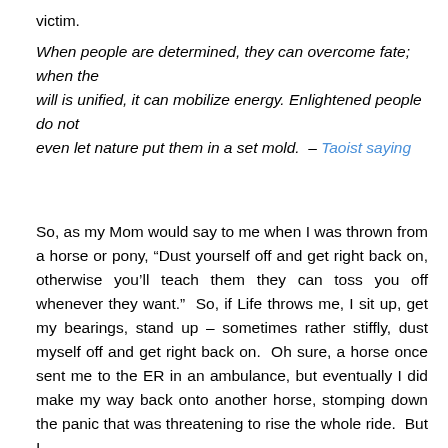victim.
When people are determined, they can overcome fate; when the will is unified, it can mobilize energy. Enlightened people do not even let nature put them in a set mold.  – Taoist saying
So, as my Mom would say to me when I was thrown from a horse or pony, “Dust yourself off and get right back on, otherwise you’ll teach them they can toss you off whenever they want.”  So, if Life throws me, I sit up, get my bearings, stand up – sometimes rather stiffly, dust myself off and get right back on.  Oh sure, a horse once sent me to the ER in an ambulance, but eventually I did make my way back onto another horse, stomping down the panic that was threatening to rise the whole ride.  But I